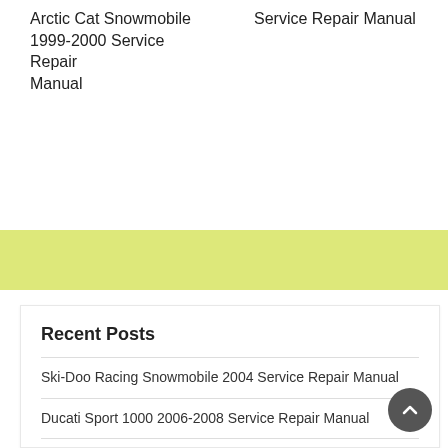Arctic Cat Snowmobile 1999-2000 Service Repair Manual
Service Repair Manual
Recent Posts
Ski-Doo Racing Snowmobile 2004 Service Repair Manual
Ducati Sport 1000 2006-2008 Service Repair Manual
Oldsmobile Bravada 2000-2001 Service Repair Manual
Chevrolet Malibu 2008-2010 Service Repair Manual
Suzuki Gsx-R1300 Hayabusa 1999-2002 Service Repair Manual